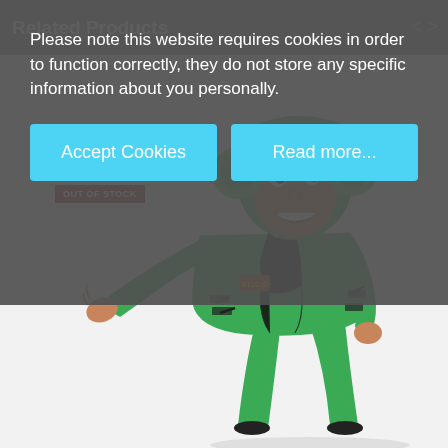Related Products
Please note this website requires cookies in order to function correctly, they do not store any specific information about you personally.
Accept Cookies
Read more...
OUT OF STOCK
[Figure (photo): Child wearing a green Frankenstein-style monster costume with a green jacket, green pants, black undershirt, and a green helmet/headpiece with round ear pieces. The child is smiling and extending one arm outward.]